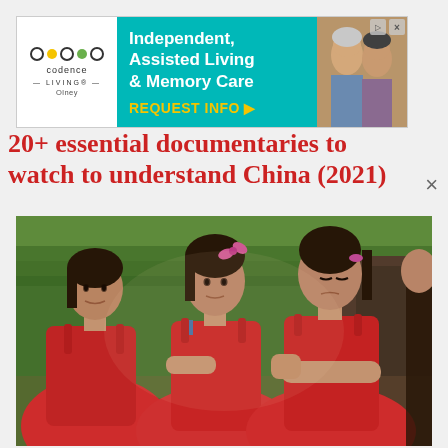[Figure (other): Advertisement banner for Codence Living Olney - Independent, Assisted Living & Memory Care with REQUEST INFO button]
20+ essential documentaries to watch to understand China (2021)
[Figure (photo): Three young Chinese girls wearing red/orange sleeveless dresses sitting together, two with pink hair accessories, green fabric backdrop behind them]